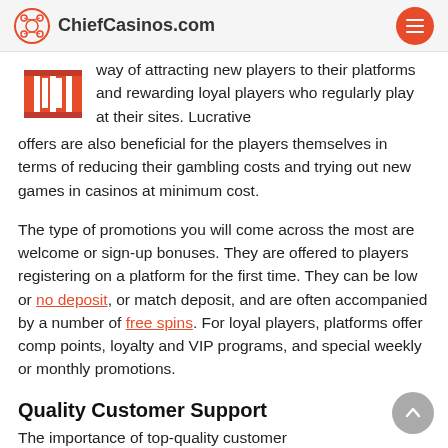ChiefCasinos.com
way of attracting new players to their platforms and rewarding loyal players who regularly play at their sites. Lucrative offers are also beneficial for the players themselves in terms of reducing their gambling costs and trying out new games in casinos at minimum cost.
The type of promotions you will come across the most are welcome or sign-up bonuses. They are offered to players registering on a platform for the first time. They can be low or no deposit, or match deposit, and are often accompanied by a number of free spins. For loyal players, platforms offer comp points, loyalty and VIP programs, and special weekly or monthly promotions.
Quality Customer Support
The importance of top-quality customer